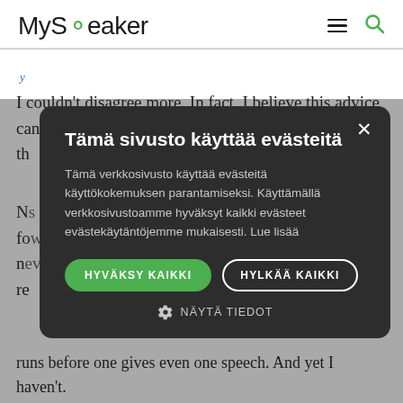MySpeaker
I couldn't disagree more. In fact, I believe this advice can, if... maging more th...
N... s of keynotes, fo... world. Yet I've n... ever. Let me re...
T... rofessional, c... des insist that o... many practice-runs before one gives even one speech. And yet I haven't.
[Figure (screenshot): Cookie consent modal dialog with dark background. Title: 'Tämä sivusto käyttää evästeitä'. Body text in Finnish about cookie usage. Two buttons: 'HYVÄKSY KAIKKI' (green, accept all) and 'HYLKÄÄ KAIKKI' (reject all, outlined). A 'NÄYTÄ TIEDOT' (show details) link with gear icon. Close X button in top right corner.]